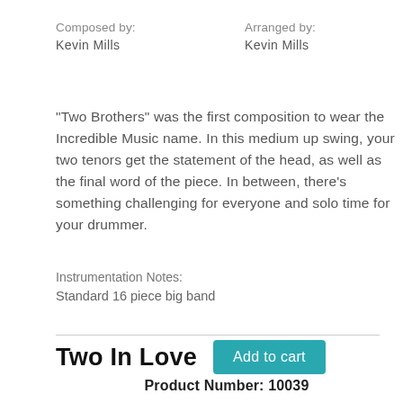Composed by:
Kevin Mills
Arranged by:
Kevin Mills
"Two Brothers" was the first composition to wear the Incredible Music name. In this medium up swing, your two tenors get the statement of the head, as well as the final word of the piece. In between, there's something challenging for everyone and solo time for your drummer.
Instrumentation Notes:
Standard 16 piece big band
Two In Love
Product Number: 10039